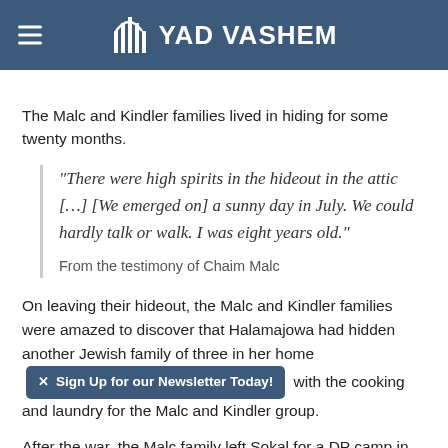YAD VASHEM
The Malc and Kindler families lived in hiding for some twenty months.
"There were high spirits in the hideout in the attic [...] [We emerged on] a sunny day in July. We could hardly talk or walk. I was eight years old."
From the testimony of Chaim Malc
On leaving their hideout, the Malc and Kindler families were amazed to discover that Halamajowa had hidden another Jewish family of three in her home with the cooking and laundry for the Malc and Kindler group.
After the war, the Malc family left Sokal for a DP camp in